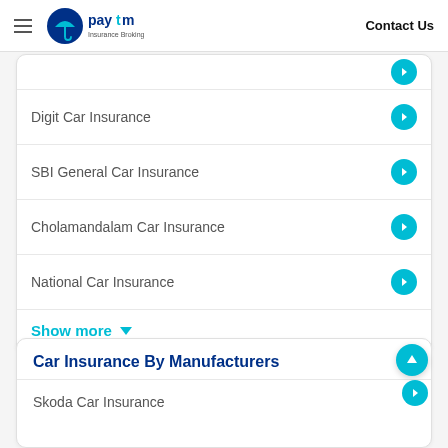Paytm Insurance Broking — Contact Us
Digit Car Insurance
SBI General Car Insurance
Cholamandalam Car Insurance
National Car Insurance
Show more
Car Insurance By Manufacturers
Skoda Car Insurance